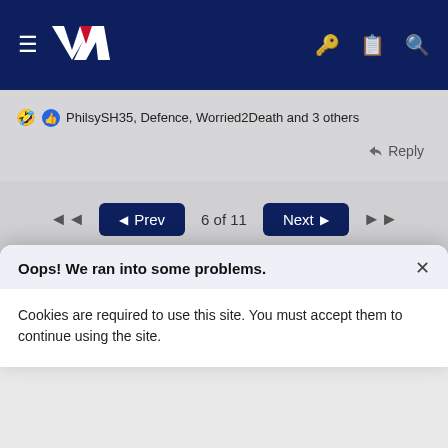[Figure (screenshot): Website navigation bar with dark navy blue background, hamburger menu icon, NZ logo (white V and Z letters), and icons for key, clipboard, and search on the right]
PhilsySH35, Defence, Worried2Death and 3 others
Reply
6 of 11
Prev
Next
Write your reply...
Oops! We ran into some problems.
Cookies are required to use this site. You must accept them to continue using the site.